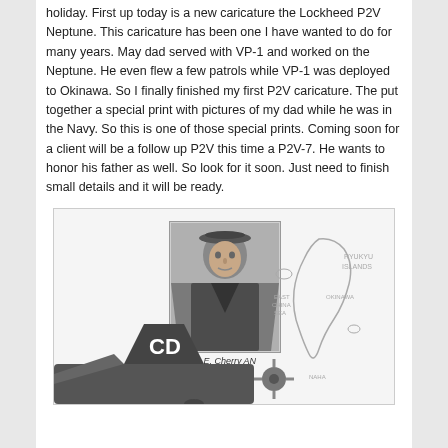holiday. First up today is a new caricature the Lockheed P2V Neptune. This caricature has been one I have wanted to do for many years. May dad served with VP-1 and worked on the Neptune. He even flew a few patrols while VP-1 was deployed to Okinawa. So I finally finished my first P2V caricature. The put together a special print with pictures of my dad while he was in the Navy. So this is one of those special prints. Coming soon for a client will be a follow up P2V this time a P2V-7. He wants to honor his father as well. So look for it soon. Just need to finish small details and it will be ready.
[Figure (illustration): A framed illustration showing a Navy portrait photo of D. E. Cherry AN in sailor uniform and cap, with a map outline of Okinawa in the background, and a partial view of a Lockheed P2V Neptune aircraft tail marked 'CD' in the foreground.]